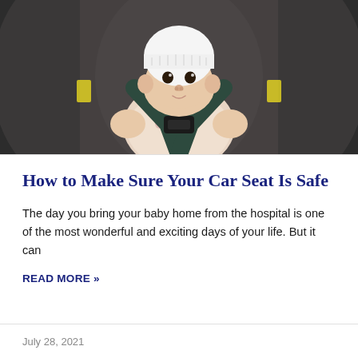[Figure (photo): A baby wearing a white knit hat sitting in a dark gray car seat with harness straps, looking at the camera]
How to Make Sure Your Car Seat Is Safe
The day you bring your baby home from the hospital is one of the most wonderful and exciting days of your life. But it can
READ MORE »
July 28, 2021